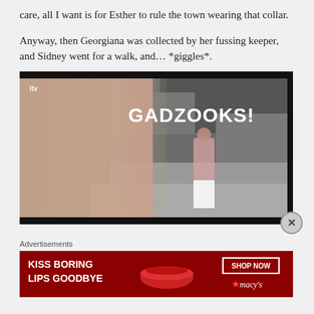care, all I want is for Esther to rule the town wearing that collar.
Anyway, then Georgiana was collected by her fussing keeper, and Sidney went for a walk, and… *giggles*.
[Figure (screenshot): TV screenshot from ITV showing a woman in a period dress standing on a rocky beach, with text 'GADZOOKS!' overlaid in white bold font. A blurred figure is in the foreground.]
Advertisements
[Figure (other): Advertisement banner for Macy's lipstick product reading 'KISS BORING LIPS GOODBYE' with a 'SHOP NOW' button and Macy's star logo on a dark red background.]